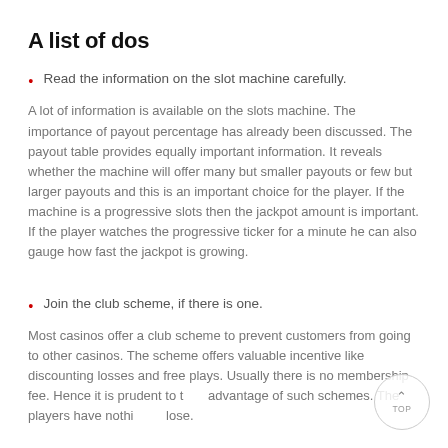A list of dos
Read the information on the slot machine carefully.
A lot of information is available on the slots machine. The importance of payout percentage has already been discussed. The payout table provides equally important information. It reveals whether the machine will offer many but smaller payouts or few but larger payouts and this is an important choice for the player. If the machine is a progressive slots then the jackpot amount is important. If the player watches the progressive ticker for a minute he can also gauge how fast the jackpot is growing.
Join the club scheme, if there is one.
Most casinos offer a club scheme to prevent customers from going to other casinos. The scheme offers valuable incentive like discounting losses and free plays. Usually there is no membership fee. Hence it is prudent to take advantage of such schemes. The players have nothing to lose.